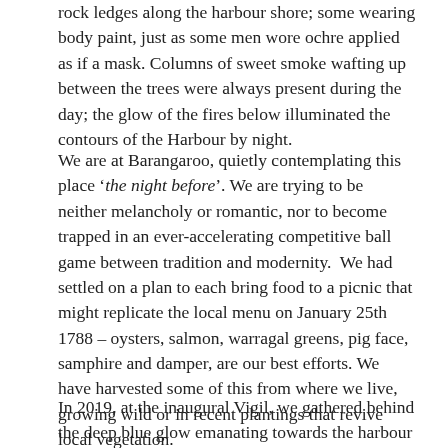rock ledges along the harbour shore; some wearing body paint, just as some men wore ochre applied as if a mask. Columns of sweet smoke wafting up between the trees were always present during the day; the glow of the fires below illuminated the contours of the Harbour by night.
We are at Barangaroo, quietly contemplating this place 'the night before'. We are trying to be neither melancholy or romantic, nor to become trapped in an ever-accelerating competitive ball game between tradition and modernity.  We had settled on a plan to each bring food to a picnic that might replicate the local menu on January 25th 1788 – oysters, salmon, warragal greens, pig face, samphire and damper, are our best efforts. We have harvested some of this from where we live, growing wild or in recent plantings that revive local vegetation.
In 2019, at the inaugural Vigil, we gathered behind the deep blue glow emanating towards the harbour from